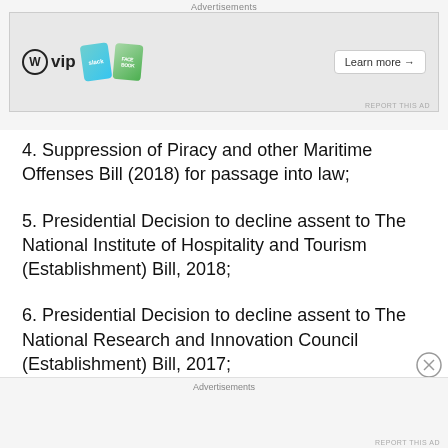[Figure (other): Advertisement banner with WordPress VIP logo, Slack and Facebook cards, and a Learn more button]
4. Suppression of Piracy and other Maritime Offenses Bill (2018) for passage into law;
5. Presidential Decision to decline assent to The National Institute of Hospitality and Tourism (Establishment) Bill, 2018;
6. Presidential Decision to decline assent to The National Research and Innovation Council (Establishment) Bill, 2017;
[Figure (other): Bottom advertisement banner placeholder]